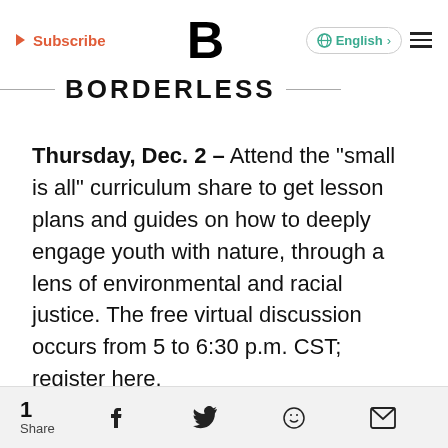Subscribe | B | BORDERLESS | English
Thursday, Dec. 2 – Attend the "small is all" curriculum share to get lesson plans and guides on how to deeply engage youth with nature, through a lens of environmental and racial justice. The free virtual discussion occurs from 5 to 6:30 p.m. CST; register here.
1 Share | Facebook | Twitter | WhatsApp | Email